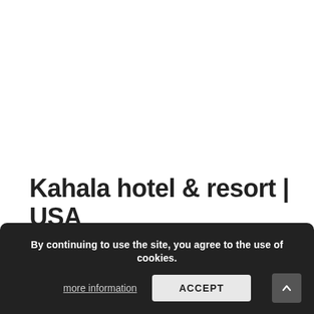Kahala hotel & resort | USA
Kahala hotel & resort has everything you could possibly wish for in a tropical beach resort, and much more. There's something...
8 MONTHS AGO   448 VIEWS
By continuing to use the site, you agree to the use of cookies.
more information   ACCEPT